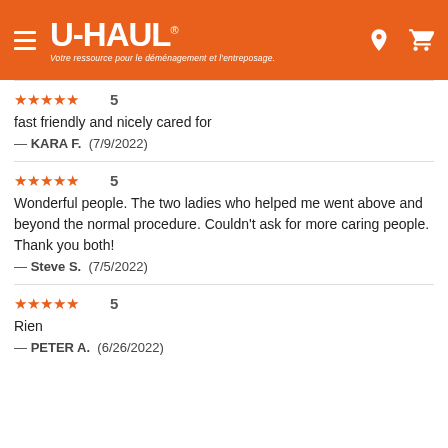U-HAUL — Votre ressource pour le déménagement et l'entreposage.
★★★★★ 5
fast friendly and nicely cared for
— KARA F.  (7/9/2022)
★★★★★ 5
Wonderful people. The two ladies who helped me went above and beyond the normal procedure. Couldn't ask for more caring people. Thank you both!
— Steve S.  (7/5/2022)
★★★★★ 5
Rien
— PETER A.  (6/26/2022)